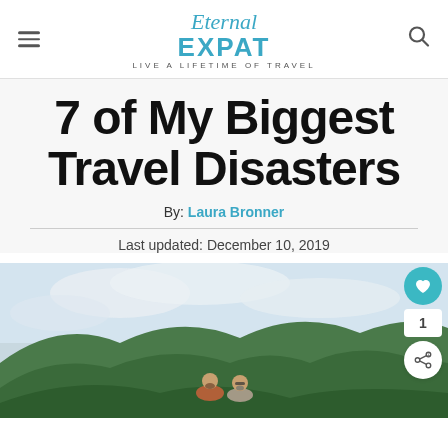Eternal Expat — LIVE A LIFETIME OF TRAVEL
7 of My Biggest Travel Disasters
By: Laura Bronner
Last updated: December 10, 2019
[Figure (photo): A couple standing in front of a lush green mountain under a cloudy sky]